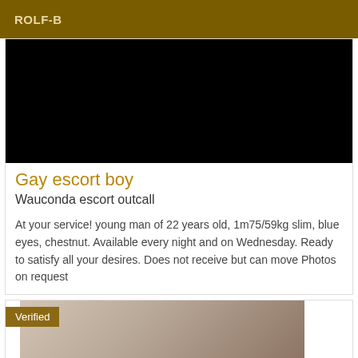ROLF-B
[Figure (photo): Black rectangular image area, likely a redacted or dark photo]
Gay escort boy
Wauconda escort outcall
At your service! young man of 22 years old, 1m75/59kg slim, blue eyes, chestnut. Available every night and on Wednesday. Ready to satisfy all your desires. Does not receive but can move Photos on request
[Figure (photo): Verified listing photo showing a person with dark hair, partially visible]